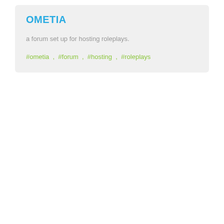OMETIA
a forum set up for hosting roleplays.
#ometia , #forum , #hosting , #roleplays